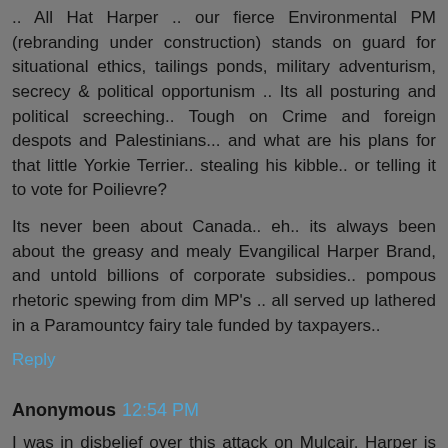.. All Hat Harper .. our fierce Environmental PM (rebranding under construction) stands on guard for situational ethics, tailings ponds, military adventurism, secrecy & political opportunism .. Its all posturing and political screeching.. Tough on Crime and foreign despots and Palestinians... and what are his plans for that little Yorkie Terrier.. stealing his kibble.. or telling it to vote for Poilievre?
Its never been about Canada.. eh.. its always been about the greasy and mealy Evangilical Harper Brand, and untold billions of corporate subsidies.. pompous rhetoric spewing from dim MP's .. all served up lathered in a Paramountcy fairy tale funded by taxpayers..
Reply
Anonymous 12:54 PM
I was in disbelief over this attack on Mulcair. Harper is the one and only Canadian PM ever, to be held in contempt of Parliament.
Harper is no Conservative either, he has no party. Harper is